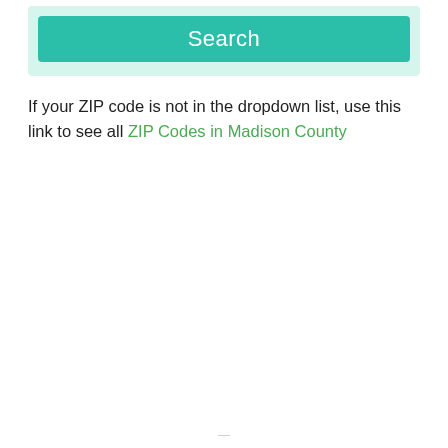[Figure (screenshot): Green Search button inside a light green rounded box area]
If your ZIP code is not in the dropdown list, use this link to see all ZIP Codes in Madison County